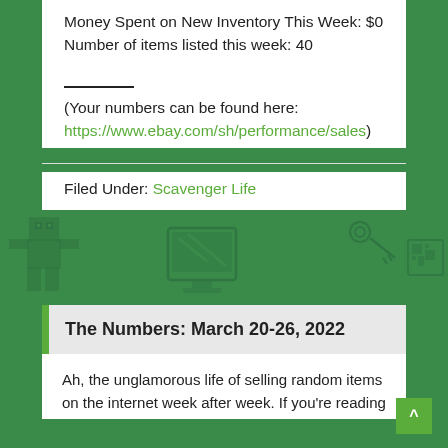Money Spent on New Inventory This Week: $0
Number of items listed this week: 40
(Your numbers can be found here: https://www.ebay.com/sh/performance/sales)
Filed Under: Scavenger Life
[Figure (illustration): Green background with pixel art figures including a robot/person character, a computer monitor, a key, and a QR code box]
The Numbers: March 20-26, 2022
Ah, the unglamorous life of selling random items on the internet week after week. If you're reading